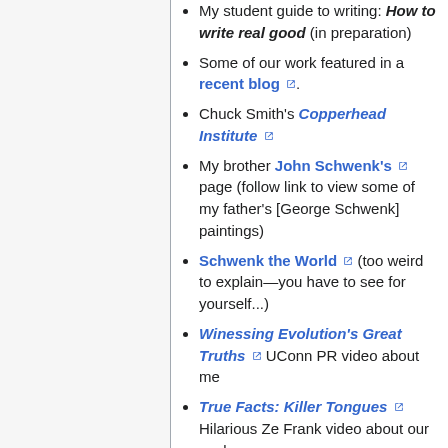My student guide to writing: How to write real good (in preparation)
Some of our work featured in a recent blog.
Chuck Smith's Copperhead Institute
My brother John Schwenk's page (follow link to view some of my father's [George Schwenk] paintings)
Schwenk the World (too weird to explain—you have to see for yourself...)
Winessing Evolution's Great Truths UConn PR video about me
True Facts: Killer Tongues Hilarious Ze Frank video about our work